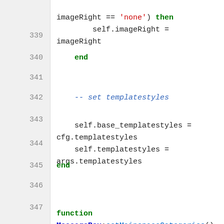[Figure (screenshot): Source code viewer showing Lua code lines 339-350, with syntax highlighting. Line numbers on the left, code on the right.]